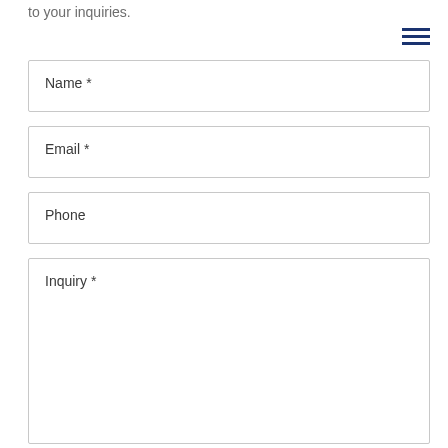to your inquiries.
Name *
Email *
Phone
Inquiry *